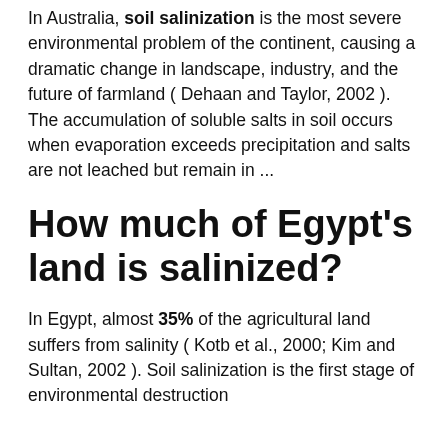In Australia, soil salinization is the most severe environmental problem of the continent, causing a dramatic change in landscape, industry, and the future of farmland ( Dehaan and Taylor, 2002 ). The accumulation of soluble salts in soil occurs when evaporation exceeds precipitation and salts are not leached but remain in ...
How much of Egypt's land is salinized?
In Egypt, almost 35% of the agricultural land suffers from salinity ( Kotb et al., 2000; Kim and Sultan, 2002 ). Soil salinization is the first stage of environmental destruction